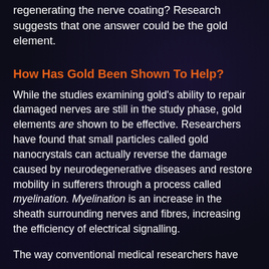regenerating the nerve coating? Research suggests that one answer could be the gold element.
How Has Gold Been Shown To Help?
While the studies examining gold's ability to repair damaged nerves are still in the study phase, gold elements are shown to be effective. Researchers have found that small particles called gold nanocrystals can actually reverse the damage caused by neurodegenerative diseases and restore mobility in sufferers through a process called myelination. Myelination is an increase in the sheath surrounding nerves and fibres, increasing the efficiency of electrical signalling.
The way conventional medical researchers have